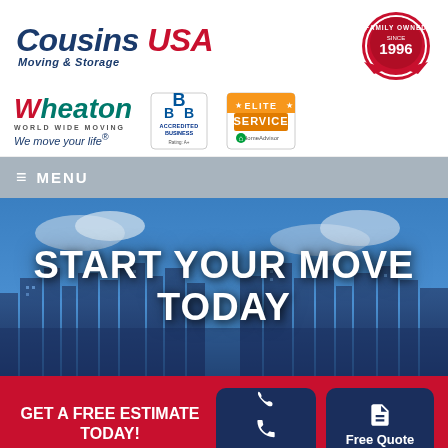[Figure (logo): Cousins USA Moving & Storage logo with Family Owned Since 1996 badge]
[Figure (logo): Wheaton World Wide Moving logo, BBB Accredited Business rating A+ badge, and HomeAdvisor Elite Service badge]
[Figure (screenshot): Navigation menu bar with hamburger icon and MENU text]
[Figure (photo): City skyline background with text START YOUR MOVE TODAY]
GET A FREE ESTIMATE TODAY!
[Figure (infographic): Call button and Free Quote button on red CTA bar]